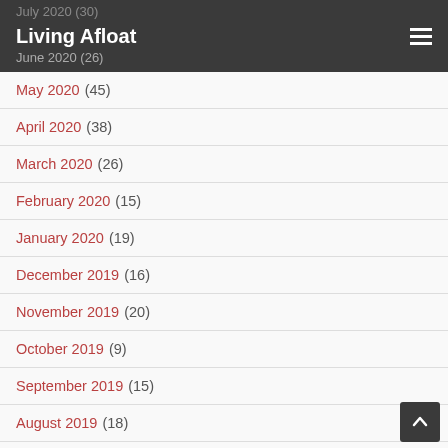Living Afloat
May 2020 (45)
April 2020 (38)
March 2020 (26)
February 2020 (15)
January 2020 (19)
December 2019 (16)
November 2019 (20)
October 2019 (9)
September 2019 (15)
August 2019 (18)
July 2019 (15)
June 2019 (12)